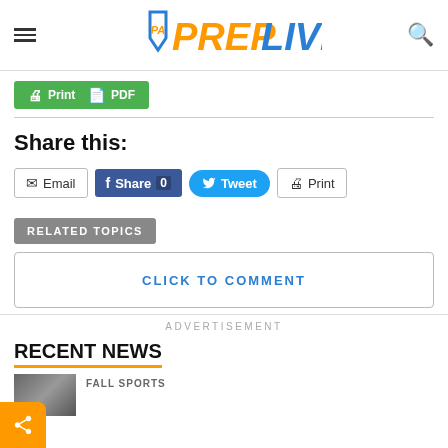PA PrepLive
[Figure (logo): PA PrepLive logo with orange PREP and blue LIVE text, PA shield emblem]
Print | PDF
Share this:
Email | Share 0 | Tweet | Print
RELATED TOPICS
CLICK TO COMMENT
ADVERTISEMENT
RECENT NEWS
FALL SPORTS